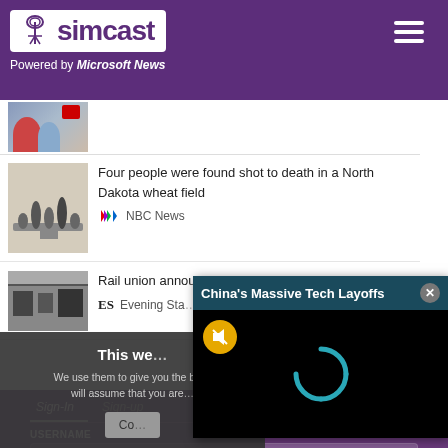simcast – Powered by Microsoft News
[Figure (screenshot): Partial news item with thumbnail showing two people, red badge icon]
Four people were found shot to death in a North Dakota wheat field
NBC News
Rail union annou…
Evening Star
This we…
We use them to give you the be… will assume that you are…
Co…
China's Massive Tech Layoffs
Sign-In
Sign-up
USERNAME
Email Address